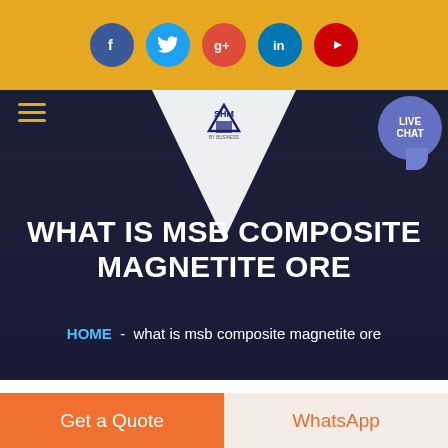[Figure (screenshot): Website header screenshot showing social media icons bar (Facebook, Twitter, Google+, LinkedIn, YouTube) on golden/amber background, navigation bar with hamburger menu, SHM logo in triangle, live chat bubble, hero section with dark overlay showing title and breadcrumb, and bottom CTA buttons.]
WHAT IS MSB COMPOSITE MAGNETITE ORE
HOME  -  what is msb composite magnetite ore
Get a Quote
WhatsApp